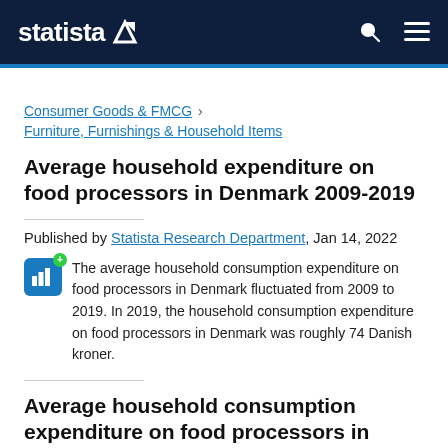statista
Consumer Goods & FMCG › Furniture, Furnishings & Household Items
Average household expenditure on food processors in Denmark 2009-2019
Published by Statista Research Department, Jan 14, 2022
The average household consumption expenditure on food processors in Denmark fluctuated from 2009 to 2019. In 2019, the household consumption expenditure on food processors in Denmark was roughly 74 Danish kroner.
Average household consumption expenditure on food processors in Denmark from 2009 to